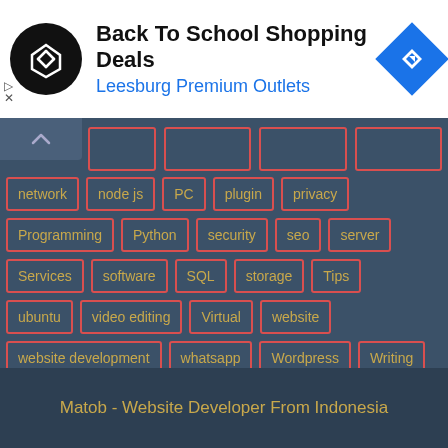[Figure (infographic): Advertisement banner: Back To School Shopping Deals - Leesburg Premium Outlets with circular logo and blue diamond navigation icon]
network
node js
PC
plugin
privacy
Programming
Python
security
seo
server
Services
software
SQL
storage
Tips
ubuntu
video editing
Virtual
website
website development
whatsapp
Wordpress
Writing
Matob - Website Developer From Indonesia